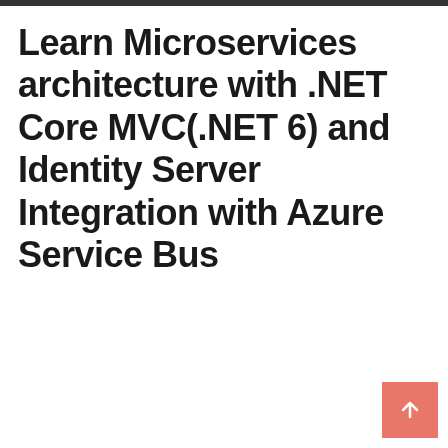Learn Microservices architecture with .NET Core MVC(.NET 6) and Identity Server Integration with Azure Service Bus